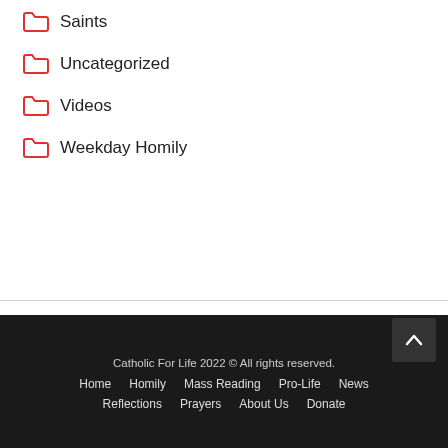Saints
Uncategorized
Videos
Weekday Homily
Catholic For Life 2022 © All rights reserved.
Home  Homily  Mass Reading  Pro-Life  News  Reflections  Prayers  About Us  Donate